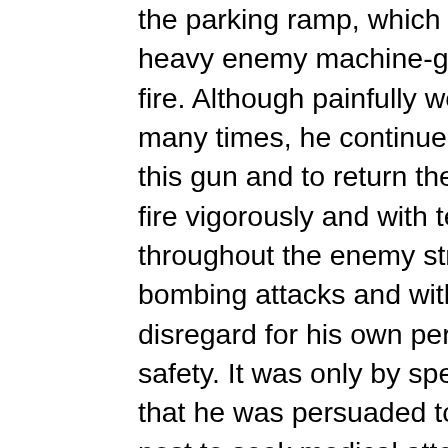the parking ramp, which was under heavy enemy machine-gun strafing fire. Although painfully wounded many times, he continued to man this gun and to return the enemy's fire vigorously and with telling effect throughout the enemy strafing and bombing attacks and with complete disregard for his own personal safety. It was only by specific orders that he was persuaded to leave his post to seek medical attention. Following first-aid treatment, although obviously suffering much pain and moving with great difficulty, he returned to the squadron area and actively supervised the rearming of returning planes. His extraordinary heroism and conduct in this action were in keeping with the highest traditions of the United States